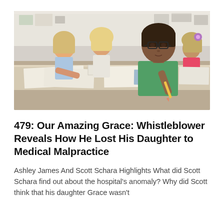[Figure (photo): Children sitting at a desk in a classroom, working on papers. A boy wearing glasses and a green t-shirt is prominent in the foreground, holding a pencil. Other children are visible in the background also writing.]
479: Our Amazing Grace: Whistleblower Reveals How He Lost His Daughter to Medical Malpractice
Ashley James And Scott Schara Highlights What did Scott Schara find out about the hospital's anomaly? Why did Scott think that his daughter Grace wasn't